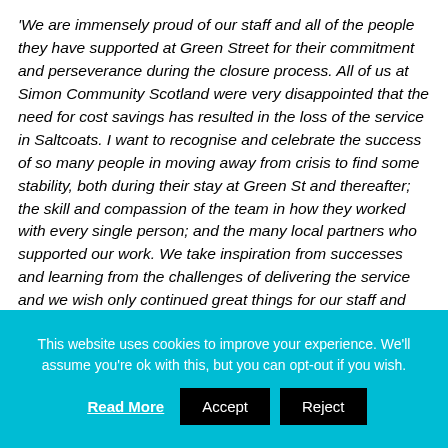'We are immensely proud of our staff and all of the people they have supported at Green Street for their commitment and perseverance during the closure process. All of us at Simon Community Scotland were very disappointed that the need for cost savings has resulted in the loss of the service in Saltcoats. I want to recognise and celebrate the success of so many people in moving away from crisis to find some stability, both during their stay at Green St and thereafter; the skill and compassion of the team in how they worked with every single person; and the many local partners who supported our work. We take inspiration from successes and learning from the challenges of delivering the service and we wish only continued great things for our staff and
This website uses cookies to improve your experience. We'll assume you're ok with this, but you can opt-out if you wish.
Read More  Accept  Reject